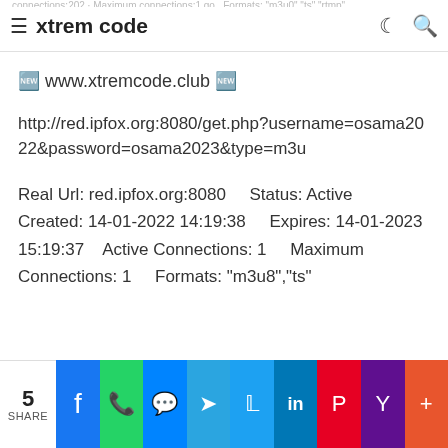xtrem code
🔲 www.xtremcode.club 🔲
http://red.ipfox.org:8080/get.php?username=osama2022&password=osama2023&type=m3u
Real Url: red.ipfox.org:8080    Status: Active Created: 14-01-2022 14:19:38     Expires: 14-01-2023 15:19:37   Active Connections: 1    Maximum Connections: 1    Formats: "m3u8","ts"
5 SHARE | Facebook | WhatsApp | Messenger | Telegram | Twitter | LinkedIn | Pinterest | Yahoo | More